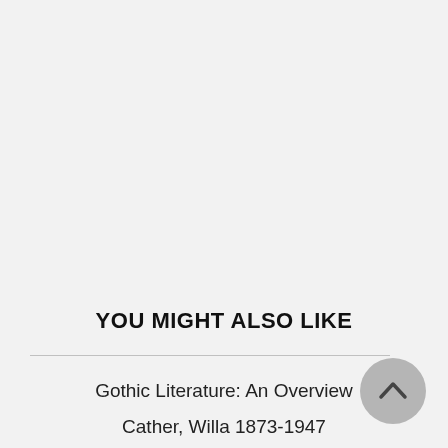YOU MIGHT ALSO LIKE
Gothic Literature: An Overview
Cather, Willa 1873-1947